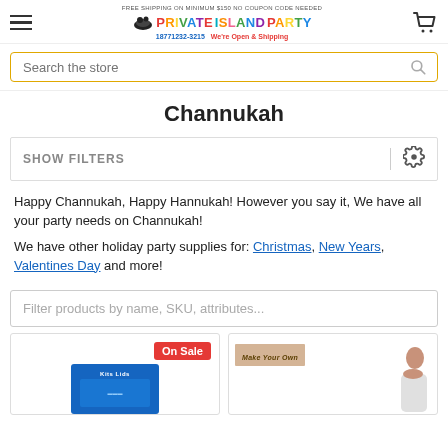FREE SHIPPING ON MINIMUM $150 NO COUPON CODE NEEDED | Private Island Party | 18771232-3215 | We're Open & Shipping
Search the store
Channukah
SHOW FILTERS
Happy Channukah, Happy Hannukah! However you say it, We have all your party needs on Channukah!
We have other holiday party supplies for: Christmas, New Years, Valentines Day and more!
Filter products by name, SKU, attributes...
[Figure (screenshot): Product card with blue box (Kits Lids brand) and On Sale badge]
[Figure (screenshot): Product card with Make Your Own banner and person silhouette]